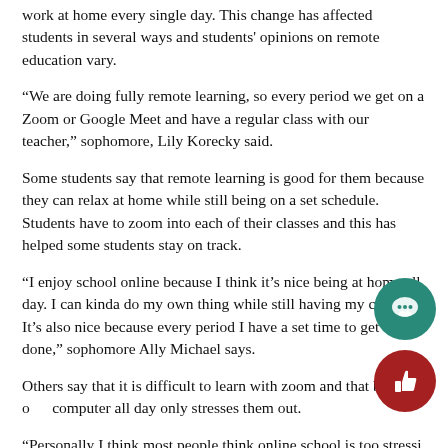work at home every single day. This change has affected students in several ways and students' opinions on remote education vary.
“We are doing fully remote learning, so every period we get on a Zoom or Google Meet and have a regular class with our teacher,” sophomore, Lily Korecky said.
Some students say that remote learning is good for them because they can relax at home while still being on a set schedule. Students have to zoom into each of their classes and this has helped some students stay on track.
“I enjoy school online because I think it’s nice being at home all day. I can kinda do my own thing while still having my classes. It’s also nice because every period I have a set time to get things done,” sophomore Ally Michael says.
Others say that it is difficult to learn with zoom and that being on a computer all day only stresses them out.
“Personally I think most people think online school is too stressi…